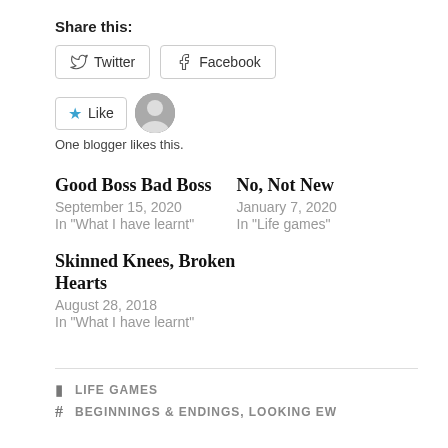Share this:
Twitter   Facebook
Like   One blogger likes this.
Good Boss Bad Boss
September 15, 2020
In "What I have learnt"
No, Not New
January 7, 2020
In "Life games"
Skinned Knees, Broken Hearts
August 28, 2018
In "What I have learnt"
LIFE GAMES
BEGINNINGS & ENDINGS, LOOKING EW